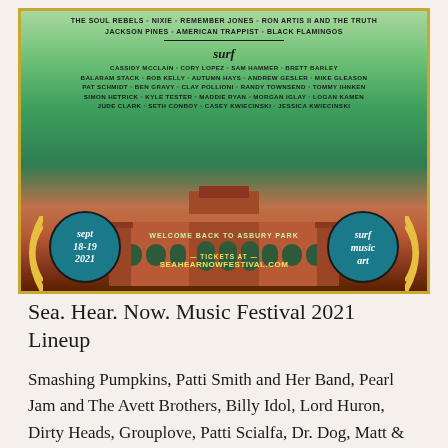[Figure (illustration): Sea Hear Now Music Festival 2021 promotional poster showing festival lineup text, a historic Asbury Park building illustration, date circles (Sept 18-19 2021), surf/music/art circle, and tickets URL seahearnowfestival.com. Green to brown gradient background with decorative border.]
Sea. Hear. Now. Music Festival 2021 Lineup
Smashing Pumpkins, Patti Smith and Her Band, Pearl Jam and The Avett Brothers, Billy Idol, Lord Huron, Dirty Heads, Grouplove, Patti Scialfa, Dr. Dog, Matt & Kim, Orville Peck, Goose, Ani DiFranco, The Dirty